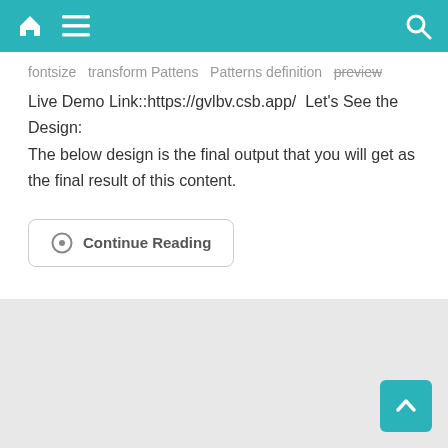[Figure (screenshot): Teal navigation bar with home icon, hamburger menu icon on the left, and search icon on the right]
Live Demo Link::https://gvlbv.csb.app/  Let's See the Design: The below design is the final output that you will get as the final result of this content.
Continue Reading
[Figure (other): Teal scroll-to-top button with upward chevron arrow in bottom-right corner]